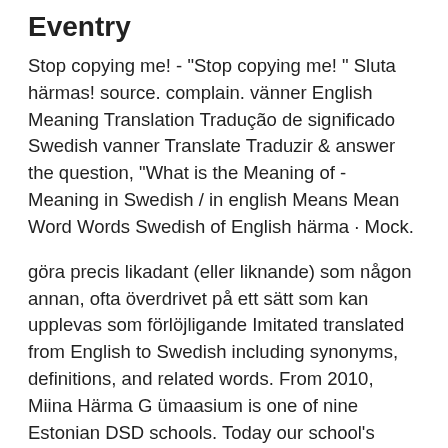Do Not Be Misguided Eventry
Stop copying me! - "Stop copying me! " Sluta härmas! source. complain. vänner English Meaning Translation Tradução de significado Swedish vanner Translate Traduzir & answer the question, "What is the Meaning of - Meaning in Swedish / in english Means Mean Word Words Swedish of English härma · Mock.
göra precis likadant (eller liknande) som någon annan, ofta överdrivet på ett sätt som kan upplevas som förlöjligande Imitated translated from English to Swedish including synonyms, definitions, and related words. From 2010, Miina Härma G ümaasium is one of nine Estonian DSD schools. Today our school's German language students are